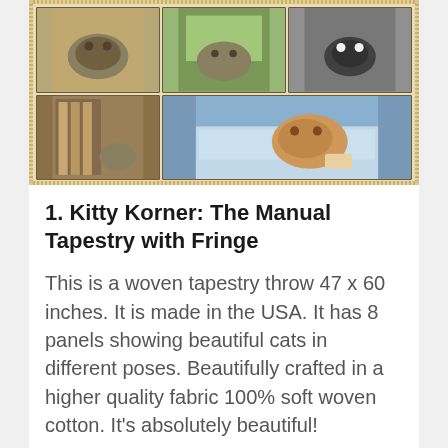[Figure (photo): A woven tapestry throw showing 8 panels with cats in different poses — tabby cats lounging, a cat near bookshelves, a cat pawing at a bowl. The tapestry has a fringe border and beige/cream background.]
1. Kitty Korner: The Manual Tapestry with Fringe
This is a woven tapestry throw 47 x 60 inches. It is made in the USA. It has 8 panels showing beautiful cats in different poses. Beautifully crafted in a higher quality fabric 100% soft woven cotton. It's absolutely beautiful!
[Figure (photo): Bottom portion of another cat tapestry or related product image, partially visible.]